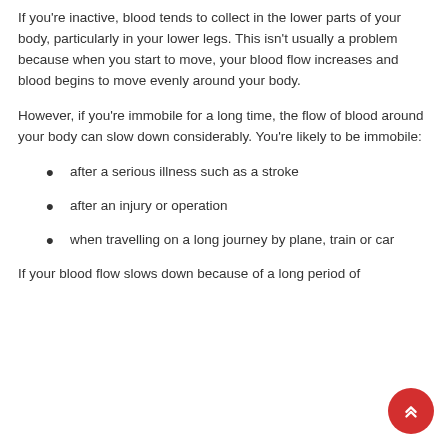If you’re inactive, blood tends to collect in the lower parts of your body, particularly in your lower legs. This isn’t usually a problem because when you start to move, your blood flow increases and blood begins to move evenly around your body.
However, if you’re immobile for a long time, the flow of blood around your body can slow down considerably. You’re likely to be immobile:
after a serious illness such as a stroke
after an injury or operation
when travelling on a long journey by plane, train or car
If your blood flow slows down because of a long period of